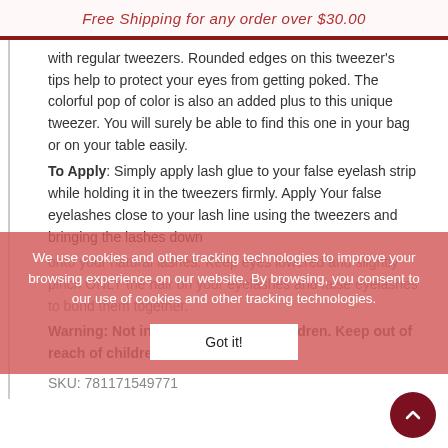Free Shipping for any order over $30.00
with regular tweezers. Rounded edges on this tweezer's tips help to protect your eyes from getting poked. The colorful pop of color is also an added plus to this unique tweezer. You will surely be able to find this one in your bag or on your table easily.
To Apply: Simply apply lash glue to your false eyelash strip while holding it in the tweezers firmly. Apply Your false eyelashes close to your lash line using the tweezers and bringing the lashes down onto your natural lashes. Keep eyes lowered and slightly pinch ONLY the hair on your eyelashes and false eyelashes to bond them together.
Warning: Not intended for use on children. Keep out of reach of children.
SKU: 781171549771
We use cookies and other tracking technologies to improve your browsing experience on our website. By browsing, you consent to our use of cookies and other tracking technologies.